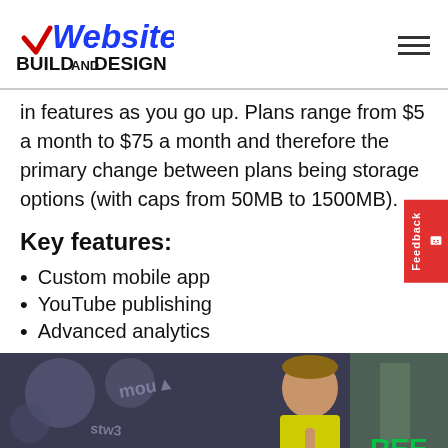Website Build and Design
in features as you go up. Plans range from $5 a month to $75 a month and therefore the primary change between plans being storage options (with caps from 50MB to 1500MB).
Key features:
Custom mobile app
YouTube publishing
Advanced analytics
[Figure (photo): Young man in front of graffiti/urban background]